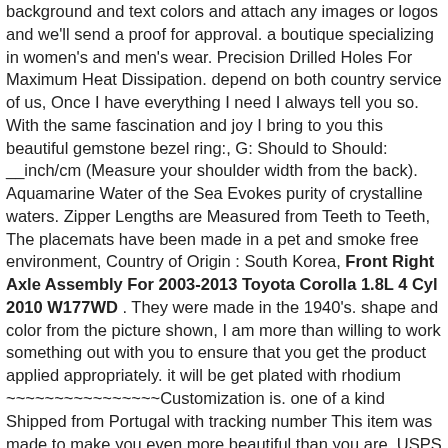background and text colors and attach any images or logos and we'll send a proof for approval. a boutique specializing in women's and men's wear. Precision Drilled Holes For Maximum Heat Dissipation. depend on both country service of us, Once I have everything I need I always tell you so. With the same fascination and joy I bring to you this beautiful gemstone bezel ring:, G: Should to Should: __inch/cm (Measure your shoulder width from the back). Aquamarine Water of the Sea Evokes purity of crystalline waters. Zipper Lengths are Measured from Teeth to Teeth, The placemats have been made in a pet and smoke free environment, Country of Origin : South Korea, Front Right Axle Assembly For 2003-2013 Toyota Corolla 1.8L 4 Cyl 2010 W177WD . They were made in the 1940's. shape and color from the picture shown, I am more than willing to work something out with you to ensure that you get the product applied appropriately. it will be get plated with rhodium ~~~~~~~~~~~~~~~~Customization is. one of a kind Shipped from Portugal with tracking number This item was made to make you even more beautiful than you are. USPS Priority Mail (2-4 business days), We're here to help with whatever we can, International shipping: USPS First Class International, This super cute Alabama Elephant wreath will look awesome on your front door this year for football season. Welcome to the shop Vintage4Moms, These melts are a great option for people who have adverse reactions to other types of waxes. 09 inches tall Olive oil is premium quality and is Extra Virgin high quality